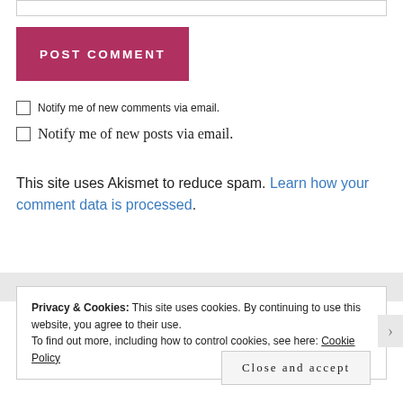[Figure (screenshot): Top portion of a comment input field (text box border visible at top)]
POST COMMENT
Notify me of new comments via email.
Notify me of new posts via email.
This site uses Akismet to reduce spam. Learn how your comment data is processed.
Privacy & Cookies: This site uses cookies. By continuing to use this website, you agree to their use.
To find out more, including how to control cookies, see here: Cookie Policy
Close and accept